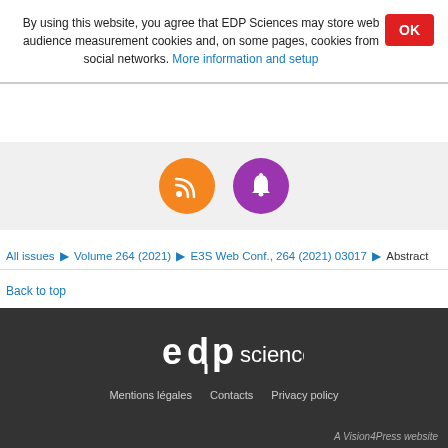By using this website, you agree that EDP Sciences may store web audience measurement cookies and, on some pages, cookies from social networks. More information and setup
[Figure (illustration): Orange RSS feed icon circle and purple notification bell icon circle]
All issues ▶ Volume 264 (2021) ▶ E3S Web Conf., 264 (2021) 03017 ▶ Abstract
Back to top
[Figure (logo): EDP Sciences white logo on dark background]
Mentions légales   Contacts   Privacy policy
A Vision4Press website